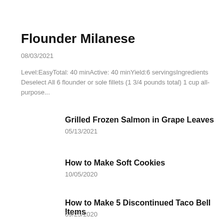Flounder Milanese
08/03/2021
Level:EasyTotal: 40 minActive: 40 minYield:6 servingsIngredients Deselect All 6 flounder or sole fillets (1 3/4 pounds total) 1 cup all-purpose...
Grilled Frozen Salmon in Grape Leaves
05/13/2021
How to Make Soft Cookies
10/05/2020
How to Make 5 Discontinued Taco Bell Items
09/25/2020